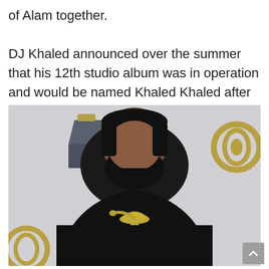of Alam together.

DJ Khaled announced over the summer that his 12th studio album was in operation and would be named Khaled Khaled after his legal name.
[Figure (photo): DJ Khaled in a black suit holding a Grammy Award trophy, standing in front of a grey backdrop with CBS logo visible in the upper right corner and a Grammy trophy in the upper left area.]